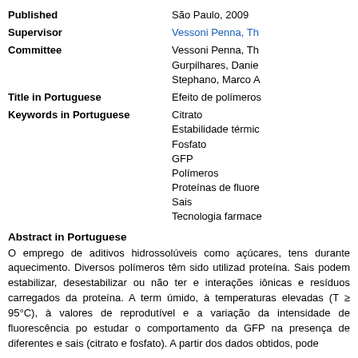| Published | São Paulo, 2009 |
| Supervisor | Vessoni Penna, Th |
| Committee | Vessoni Penna, Th
Gurpilhares, Danie
Stephano, Marco A |
| Title in Portuguese | Efeito de polímeros |
| Keywords in Portuguese | Citrato
Estabilidade térmic
Fosfato
GFP
Polímeros
Proteínas de fluore
Sais
Tecnologia farmace |
Abstract in Portuguese
O emprego de aditivos hidrossolúveis como açúcares, tens durante aquecimento. Diversos polímeros têm sido utilizad proteína. Sais podem estabilizar, desestabilizar ou não ter e interações iônicas e resíduos carregados da proteína. A term úmido, à temperaturas elevadas (T ≥ 95°C), à valores de reprodutível e a variação da intensidade de fluorescência po estudar o comportamento da GFP na presença de diferentes e sais (citrato e fosfato). A partir dos dados obtidos, pode